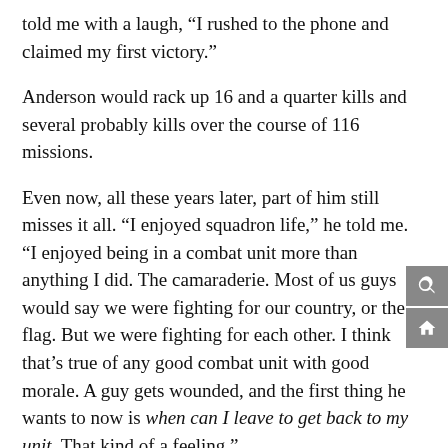told me with a laugh, “I rushed to the phone and claimed my first victory.”
Anderson would rack up 16 and a quarter kills and several probably kills over the course of 116 missions.
Even now, all these years later, part of him still misses it all. “I enjoyed squadron life,” he told me. “I enjoyed being in a combat unit more than anything I did. The camaraderie. Most of us guys would say we were fighting for our country, or the flag. But we were fighting for each other. I think that’s true of any good combat unit with good morale. A guy gets wounded, and the first thing he wants to now is when can I leave to get back to my unit. That kind of a feeling.”
WOODY WILLIAMS
On the other side of the world, a very different war was being fought. To hear about the fight against the Japanese in the Pacific, I got in touch with 96-year-old